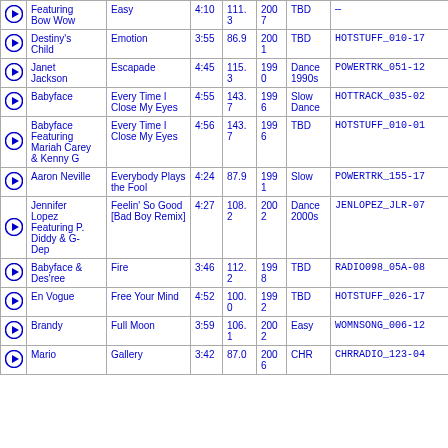|  | Artist | Song | Time | BPM | Year | Category | Code |
| --- | --- | --- | --- | --- | --- | --- | --- |
| ▶ | Featuring Bow Wow | Easy | 4:10 | 111.3 | 2007 | TBD | — |
| ▶ | Destiny's Child | Emotion | 3:55 | 86.9 | 2001 | TBD | HOTSTUFF_010-17 |
| ▶ | Janet Jackson | Escapade | 4:45 | 115.3 | 1990 | Dance 1990s | POWERTRK_051-12 |
| ▶ | Babyface | Every Time I Close My Eyes | 4:55 | 143.7 | 1996 | Slow Dance | HOTTRACK_035-02 |
| ▶ | Babyface Featuring Mariah Carey & Kenny G | Every Time I Close My Eyes | 4:56 | 143.7 | 1996 | TBD | HOTSTUFF_010-01 |
| ▶ | Aaron Neville | Everybody Plays the Fool | 4:24 | 87.9 | 1991 | Slow | POWERTRK_155-17 |
| ▶ | Jennifer Lopez Featuring P. Diddy & G-Dep | Feelin' So Good [Bad Boy Remix] | 4:27 | 108.2 | 2002 | Dance 2000s | JENLOPEZ_JLR-07 |
| ▶ | Babyface & Des'ree | Fire | 3:46 | 112.2 | 1998 | TBD | RADIO098_05A-08 |
| ▶ | En Vogue | Free Your Mind | 4:52 | 100.0 | 1992 | TBD | HOTSTUFF_026-17 |
| ▶ | Brandy | Full Moon | 3:59 | 106.1 | 2002 | Easy | WOMNSONG_006-12 |
| ▶ | Mario | Gallery | 3:42 | 87.0 | 2006 | CHR | CHRRADIO_123-04 |